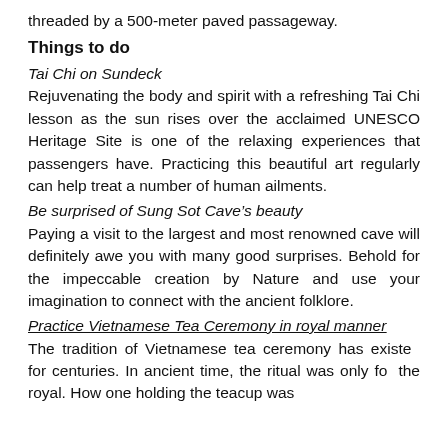threaded by a 500-meter paved passageway.
Things to do
Tai Chi on Sundeck
Rejuvenating the body and spirit with a refreshing Tai Chi lesson as the sun rises over the acclaimed UNESCO Heritage Site is one of the relaxing experiences that passengers have. Practicing this beautiful art regularly can help treat a number of human ailments.
Be surprised of Sung Sot Cave’s beauty
Paying a visit to the largest and most renowned cave will definitely awe you with many good surprises. Behold for the impeccable creation by Nature and use your imagination to connect with the ancient folklore.
Practice Vietnamese Tea Ceremony in royal manner
The tradition of Vietnamese tea ceremony has existed for centuries. In ancient time, the ritual was only for the royal. How one holding the teacup was